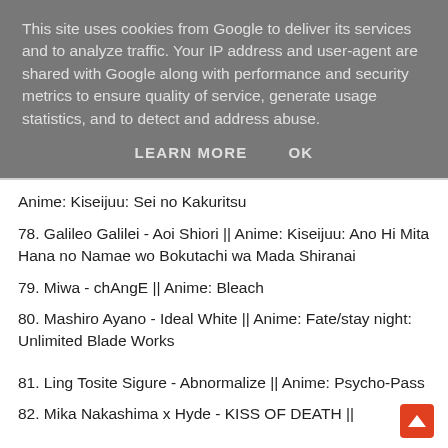This site uses cookies from Google to deliver its services and to analyze traffic. Your IP address and user-agent are shared with Google along with performance and security metrics to ensure quality of service, generate usage statistics, and to detect and address abuse.
LEARN MORE   OK
Anime: Kiseijuu: Sei no Kakuritsu
78. Galileo Galilei - Aoi Shiori || Anime: Kiseijuu: Ano Hi Mita Hana no Namae wo Bokutachi wa Mada Shiranai
79. Miwa - chAngE || Anime: Bleach
80. Mashiro Ayano - Ideal White || Anime: Fate/stay night: Unlimited Blade Works
81. Ling Tosite Sigure - Abnormalize || Anime: Psycho-Pass
82. Mika Nakashima x Hyde - KISS OF DEATH ||